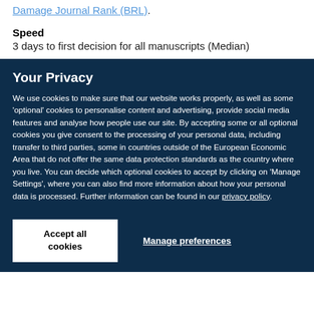Damage Journal Rank (BRL)
Speed
3 days to first decision for all manuscripts (Median)
Your Privacy
We use cookies to make sure that our website works properly, as well as some 'optional' cookies to personalise content and advertising, provide social media features and analyse how people use our site. By accepting some or all optional cookies you give consent to the processing of your personal data, including transfer to third parties, some in countries outside of the European Economic Area that do not offer the same data protection standards as the country where you live. You can decide which optional cookies to accept by clicking on 'Manage Settings', where you can also find more information about how your personal data is processed. Further information can be found in our privacy policy.
Accept all cookies
Manage preferences